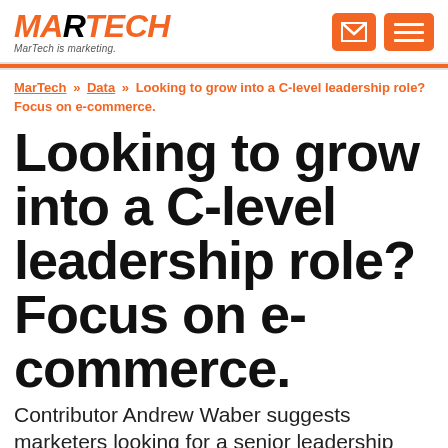MARTECH — MarTech is marketing.
MarTech » Data » Looking to grow into a C-level leadership role? Focus on e-commerce.
Looking to grow into a C-level leadership role? Focus on e-commerce.
Contributor Andrew Waber suggests marketers looking for a senior leadership role should address the gaps and